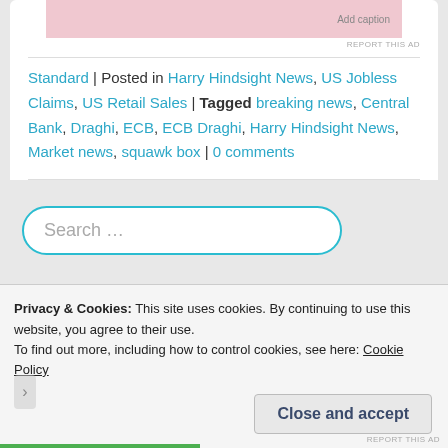[Figure (other): Pink advertisement placeholder with 'Add caption' text and 'REPORT THIS AD' link below]
Standard | Posted in Harry Hindsight News, US Jobless Claims, US Retail Sales | Tagged breaking news, Central Bank, Draghi, ECB, ECB Draghi, Harry Hindsight News, Market news, squawk box | 0 comments
[Figure (screenshot): Search box with placeholder text 'Search ...' styled with rounded border in teal/cyan color]
Privacy & Cookies: This site uses cookies. By continuing to use this website, you agree to their use.
To find out more, including how to control cookies, see here: Cookie Policy
Close and accept